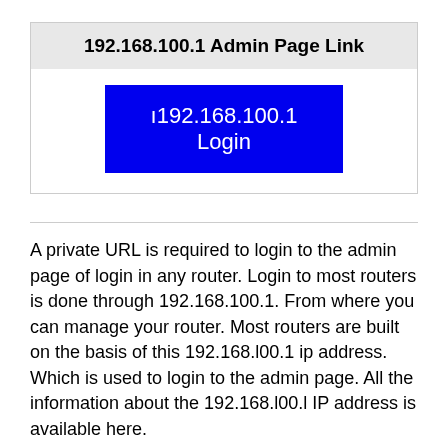192.168.100.1 Admin Page Link
[Figure (other): Blue button link labeled 'ı192.168.100.1 Login']
A private URL is required to login to the admin page of login in any router. Login to most routers is done through 192.168.100.1. From where you can manage your router. Most routers are built on the basis of this 192.168.l00.1 ip address. Which is used to login to the admin page. All the information about the 192.168.l00.l IP address is available here.